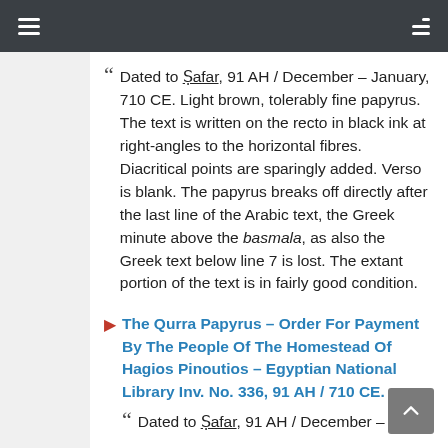Dated to Ṣafar, 91 AH / December – January, 710 CE. Light brown, tolerably fine papyrus. The text is written on the recto in black ink at right-angles to the horizontal fibres. Diacritical points are sparingly added. Verso is blank. The papyrus breaks off directly after the last line of the Arabic text, the Greek minute above the basmala, as also the Greek text below line 7 is lost. The extant portion of the text is in fairly good condition.
The Qurra Papyrus – Order For Payment By The People Of The Homestead Of Hagios Pinoutios – Egyptian National Library Inv. No. 336, 91 AH / 710 CE.
Dated to Ṣafar, 91 AH / December –